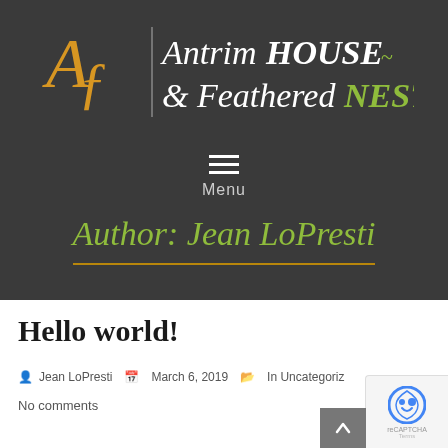[Figure (logo): Antrim House & Feathered Nest logo with stylized AF monogram in orange/gold and white italic script text on dark background]
Menu
Author: Jean LoPresti
Hello world!
Jean LoPresti   March 6, 2019   In Uncategoriz
No comments